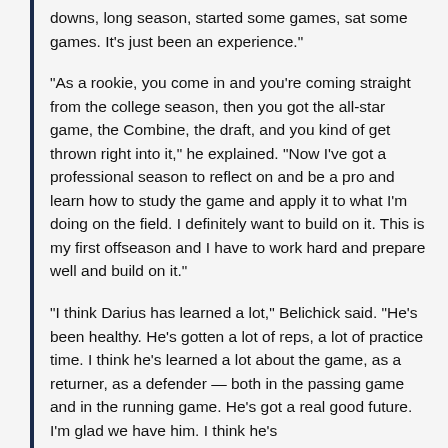downs, long season, started some games, sat some games. It's just been an experience."
"As a rookie, you come in and you're coming straight from the college season, then you got the all-star game, the Combine, the draft, and you kind of get thrown right into it," he explained. "Now I've got a professional season to reflect on and be a pro and learn how to study the game and apply it to what I'm doing on the field. I definitely want to build on it. This is my first offseason and I have to work hard and prepare well and build on it."
"I think Darius has learned a lot," Belichick said. "He's been healthy. He's gotten a lot of reps, a lot of practice time. I think he's learned a lot about the game, as a returner, as a defender — both in the passing game and in the running game. He's got a real good future. I'm glad we have him. I think he's